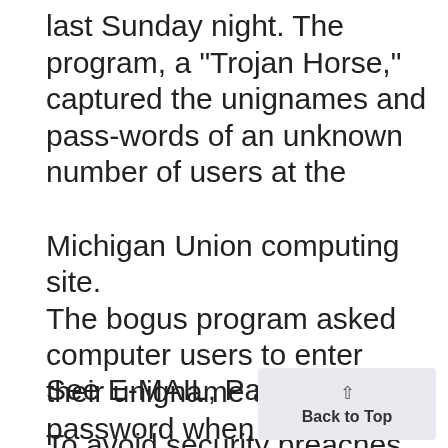last Sunday night. The program, a "Trojan Horse," captured the unignames and pass-words of an unknown number of users at the Michigan Union computing site. The bogus program asked computer users to enter their unigname and password when they logged in. Instead of displaying the pass-
See E-MAIL, Page 2
To avoid security breaches in passwords, University